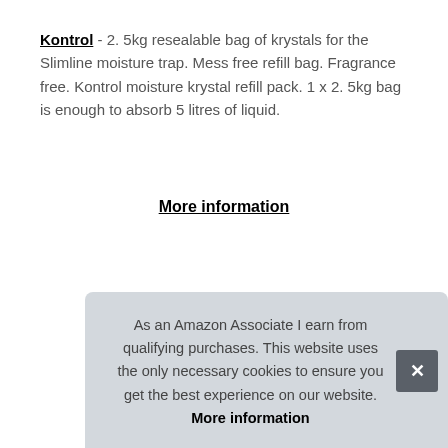Kontrol - 2. 5kg resealable bag of krystals for the Slimline moisture trap. Mess free refill bag. Fragrance free. Kontrol moisture krystal refill pack. 1 x 2. 5kg bag is enough to absorb 5 litres of liquid.
More information
| Brand | Kontrol |
| Manufacturer | Kontrol |
| Height | 12.2 cm (4.8 Inches) |
As an Amazon Associate I earn from qualifying purchases. This website uses the only necessary cookies to ensure you get the best experience on our website. More information